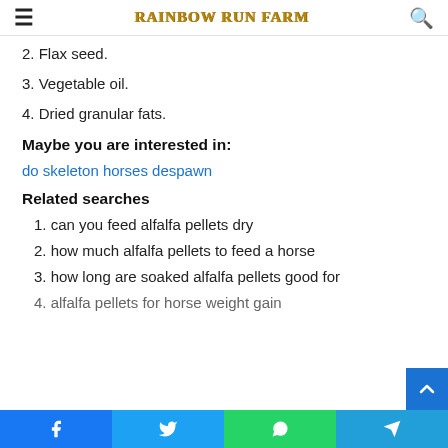RAINBOW RUN FARM
2. Flax seed.
3. Vegetable oil.
4. Dried granular fats.
Maybe you are interested in:
do skeleton horses despawn
Related searches
1. can you feed alfalfa pellets dry
2. how much alfalfa pellets to feed a horse
3. how long are soaked alfalfa pellets good for
4. alfalfa pellets for horse weight gain